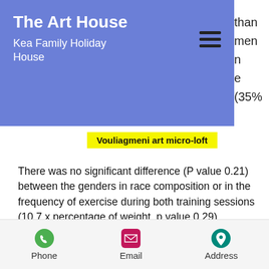The Art House
Kea Family Holiday House
Vouliagmeni art micro-loft
There was no significant difference (P value 0.21) between the genders in race composition or in the frequency of exercise during both training sessions (10.7 x percentage of weight, p value 0.29). However, the gender differences in body fat percentage (P = 0.11) increased significantly (P = 0.002) with decreasing training frequency (7.4x) and weight (17.4x) or time spent training at the gym (~50min per week). These differences could be explained by greater differences in training frequency than
Phone   Email   Address